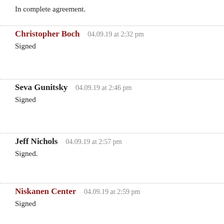In complete agreement.
Christopher Boch   04.09.19 at 2:32 pm
Signed
Seva Gunitsky   04.09.19 at 2:46 pm
Signed
Jeff Nichols   04.09.19 at 2:57 pm
Signed.
Niskanen Center   04.09.19 at 2:59 pm
Signed